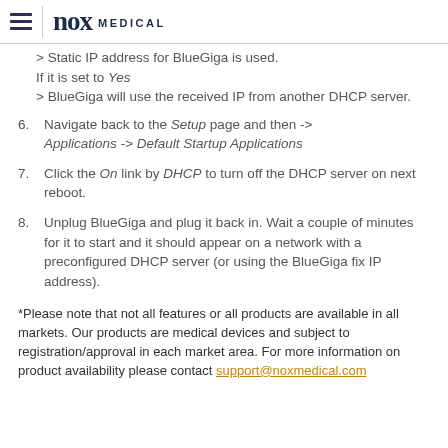nox MEDICAL
> Static IP address for BlueGiga is used. If it is set to Yes
> BlueGiga will use the received IP from another DHCP server.
6. Navigate back to the Setup page and then -> Applications -> Default Startup Applications
7. Click the On link by DHCP to turn off the DHCP server on next reboot.
8. Unplug BlueGiga and plug it back in. Wait a couple of minutes for it to start and it should appear on a network with a preconfigured DHCP server (or using the BlueGiga fix IP address).
*Please note that not all features or all products are available in all markets. Our products are medical devices and subject to registration/approval in each market area. For more information on product availability please contact support@noxmedical.com